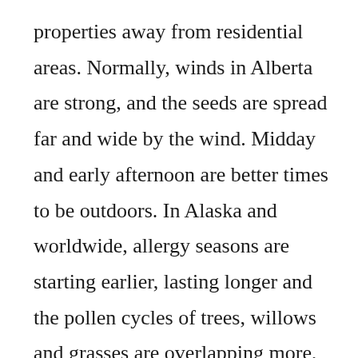properties away from residential areas. Normally, winds in Alberta are strong, and the seeds are spread far and wide by the wind. Midday and early afternoon are better times to be outdoors. In Alaska and worldwide, allergy seasons are starting earlier, lasting longer and the pollen cycles of trees, willows and grasses are overlapping more, Demain said. To curtail an aphid invasion, Brown suggests using a hose to spray water on the underside of the leaves and trunk of the tree.